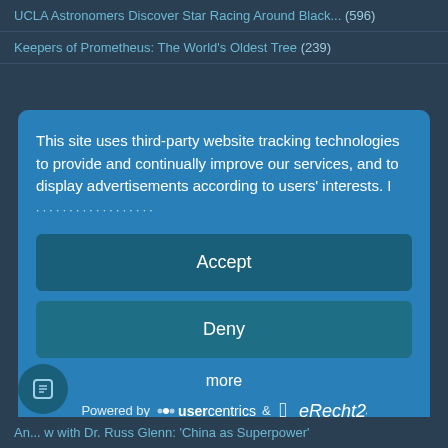UCLA Astronomers Discover Star Racing Around Black... (596)
Keepers of Prometheus: The World's Oldest Tree (239)
This site uses third-party website tracking technologies to provide and continually improve our services, and to display advertisements according to users' interests. I
Accept
Deny
more
Powered by usercentrics & eRecht24
An... w with Dr. Russ Glenn: 'China as Superpower'